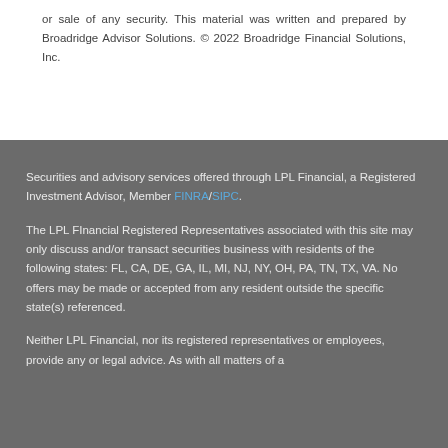or sale of any security. This material was written and prepared by Broadridge Advisor Solutions. © 2022 Broadridge Financial Solutions, Inc.
Securities and advisory services offered through LPL Financial, a Registered Investment Advisor, Member FINRA/SIPC.
The LPL FInancial Registered Representatives associated with this site may only discuss and/or transact securities business with residents of the following states: FL, CA, DE, GA, IL, MI, NJ, NY, OH, PA, TN, TX, VA. No offers may be made or accepted from any resident outside the specific state(s) referenced.
Neither LPL Financial, nor its registered representatives or employees, provide any or legal advice. As with all matters of a